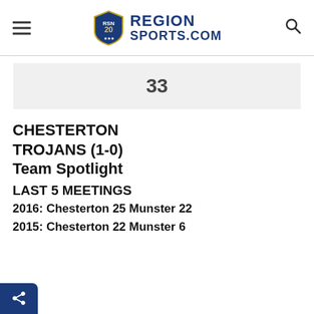RegionSports.Com
33
CHESTERTON TROJANS (1-0) Team Spotlight
LAST 5 MEETINGS
2016: Chesterton 25 Munster 22
2015: Chesterton 22 Munster 6